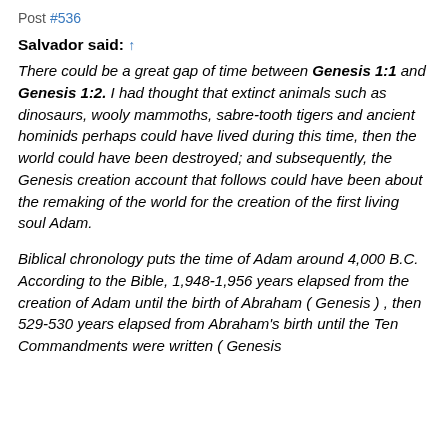Post #536
Salvador said: ↑
There could be a great gap of time between Genesis 1:1 and Genesis 1:2. I had thought that extinct animals such as dinosaurs, wooly mammoths, sabre-tooth tigers and ancient hominids perhaps could have lived during this time, then the world could have been destroyed; and subsequently, the Genesis creation account that follows could have been about the remaking of the world for the creation of the first living soul Adam.
Biblical chronology puts the time of Adam around 4,000 B.C. According to the Bible, 1,948-1,956 years elapsed from the creation of Adam until the birth of Abraham ( Genesis ) , then 529-530 years elapsed from Abraham's birth until the Ten Commandments were written ( Genesis